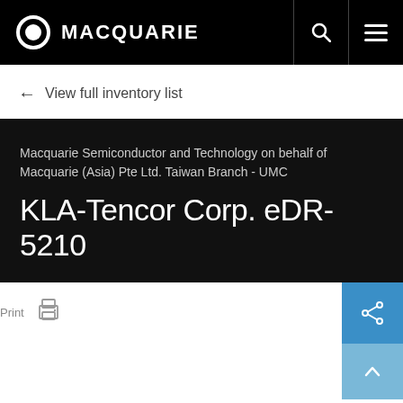MACQUARIE
← View full inventory list
Macquarie Semiconductor and Technology on behalf of Macquarie (Asia) Pte Ltd. Taiwan Branch - UMC
KLA-Tencor Corp. eDR-5210